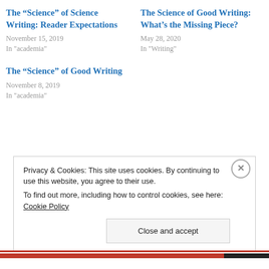The “Science” of Science Writing: Reader Expectations
November 15, 2019
In "academia"
The Science of Good Writing: What’s the Missing Piece?
May 28, 2020
In "Writing"
The “Science” of Good Writing
November 8, 2019
In "academia"
Privacy & Cookies: This site uses cookies. By continuing to use this website, you agree to their use.
To find out more, including how to control cookies, see here: Cookie Policy
Close and accept